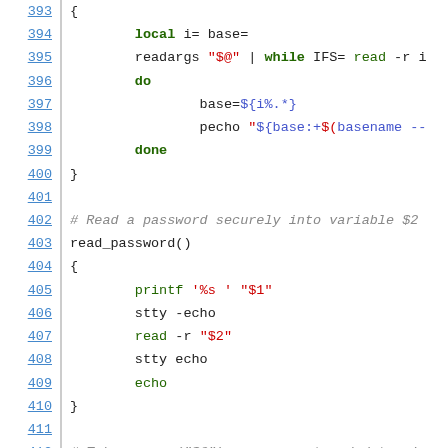Code listing lines 393-414 showing shell script functions including readargs loop, read_password(), and is_help()